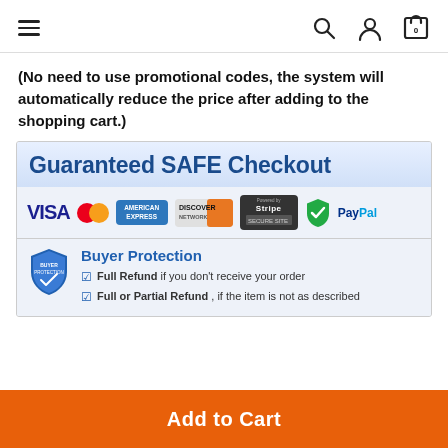Navigation header with hamburger menu, search, user, and cart icons
(No need to use promotional codes, the system will automatically reduce the price after adding to the shopping cart.)
[Figure (infographic): Guaranteed SAFE Checkout banner with payment method logos (Visa, Mastercard, American Express, Discover Network, Stripe, SSL secure, PayPal) and Buyer Protection section stating Full Refund if you don't receive your order and Full or Partial Refund if the item is not as described]
Add to Cart